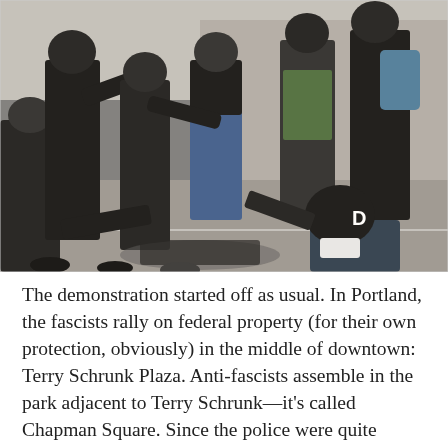[Figure (photo): A street confrontation scene showing multiple people in black clothing engaged in a physical altercation. Some individuals wear helmets and tactical gear. The scene takes place on a paved street or plaza, with bright sunlight.]
The demonstration started off as usual. In Portland, the fascists rally on federal property (for their own protection, obviously) in the middle of downtown: Terry Schrunk Plaza. Anti-fascists assemble in the park adjacent to Terry Schrunk—it's called Chapman Square. Since the police were quite aware of the dynamics between the demonstrators, they lined Madison Street, facing the anti-fascists in Chapman